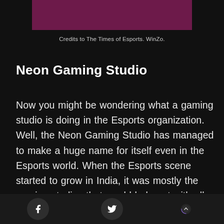[Figure (illustration): Dark purple/maroon banner image, partially cut off at top, appears to be a gaming/esports promotional image]
Credits to The Times of Esports. WinZo.
Neon Gaming Studio
Now you might be wondering what a gaming studio is doing in the Esports organization. Well, the Neon Gaming Studio has managed to make a huge name for itself even in the Esports world. When the Esports scene started to grow in India, it was mostly the gaming studios that would help out with all the hosting of Esports events and tournaments. Hence, neon Gaming Studios managed some of the best
Social share buttons: Facebook, Twitter, scroll-to-top